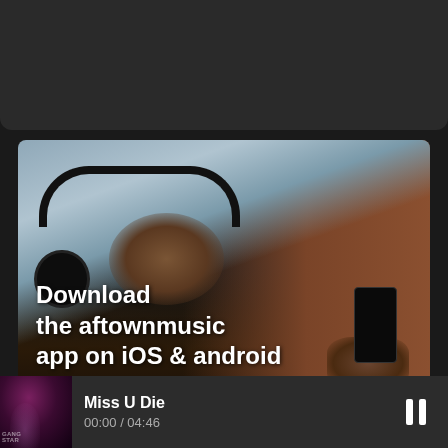[Figure (photo): Dark top bar area of a music app interface]
[Figure (photo): Photo of a young man wearing large black headphones, looking at his smartphone, with a brick wall and wooden fence in the background. Overlaid text reads: Download the aftownmusic app on iOS & android]
Download the aftownmusic app on iOS & android
[Figure (screenshot): Music player now-playing bar showing album art for 'Miss U Die', track title, time 00:00 / 04:46, and pause button]